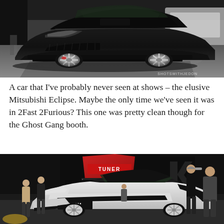[Figure (photo): Black Mitsubishi Eclipse on white multi-spoke wheels, lowered, shown at an indoor car show on a polished concrete floor. Another white car visible in background. Photographer watermark visible.]
A car that I've probably never seen at shows – the elusive Mitsubishi Eclipse. Maybe the only time we've seen it was in 2Fast 2Furious? This one was pretty clean though for the Ghost Gang booth.
[Figure (photo): White and black modified sports car (Toyota 86/BRZ style) at an indoor car show booth with Tuner Decals branding tent/banner. Several people standing around the car. Vendor booth setting.]